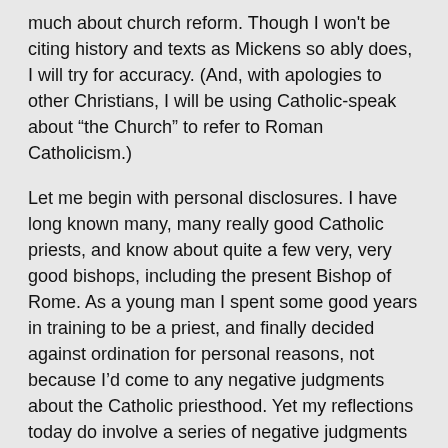much about church reform. Though I won't be citing history and texts as Mickens so ably does, I will try for accuracy. (And, with apologies to other Christians, I will be using Catholic-speak about “the Church” to refer to Roman Catholicism.)
Let me begin with personal disclosures. I have long known many, many really good Catholic priests, and know about quite a few very, very good bishops, including the present Bishop of Rome. As a young man I spent some good years in training to be a priest, and finally decided against ordination for personal reasons, not because I’d come to any negative judgments about the Catholic priesthood. Yet my reflections today do involve a series of negative judgments – not so much about people as about the theology, traditions, and church law which have led to the so-called “priest shortage”.